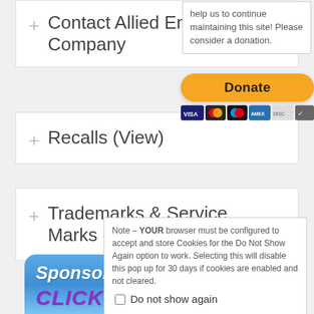+ Contact Allied Engineering Company
+ Recalls (View)
+ Trademarks & Service Marks (Discla...)
help us to continue maintaining this site! Please consider a donation.
[Figure (infographic): PayPal Donate button (yellow/gold rounded rectangle) with payment card icons below (Visa, Mastercard, Maestro, Amex, Discover, other)]
Note – YOUR browser must be configured to accept and store Cookies for the Do Not Show Again option to work. Selecting this will disable this pop up for 30 days if cookies are enabled and not cleared.
Do not show again
[Figure (infographic): Sponsor This Page! CLICK HERE banner with blue gradient background and purple text]